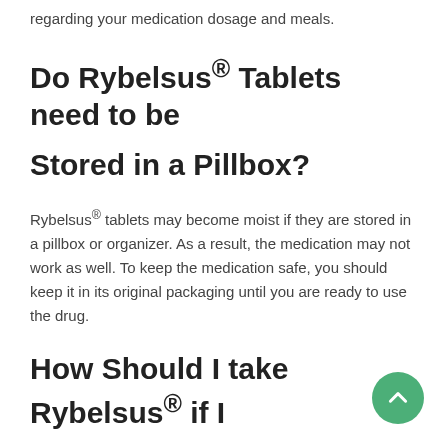regarding your medication dosage and meals.
Do Rybelsus® Tablets need to be Stored in a Pillbox?
Rybelsus® tablets may become moist if they are stored in a pillbox or organizer. As a result, the medication may not work as well. To keep the medication safe, you should keep it in its original packaging until you are ready to use the drug.
How Should I take Rybelsus® if I Forget to take it?
You can forget the missed dose and take the following amount as usual.
It could be to if you can take the medication is in d